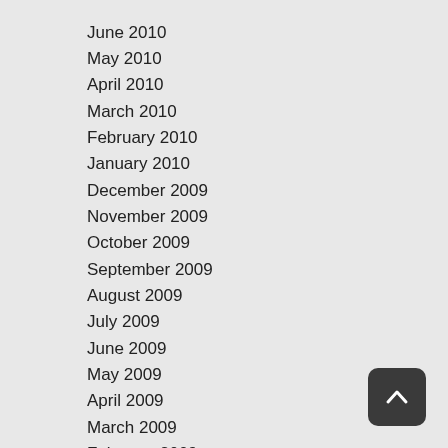June 2010
May 2010
April 2010
March 2010
February 2010
January 2010
December 2009
November 2009
October 2009
September 2009
August 2009
July 2009
June 2009
May 2009
April 2009
March 2009
February 2009